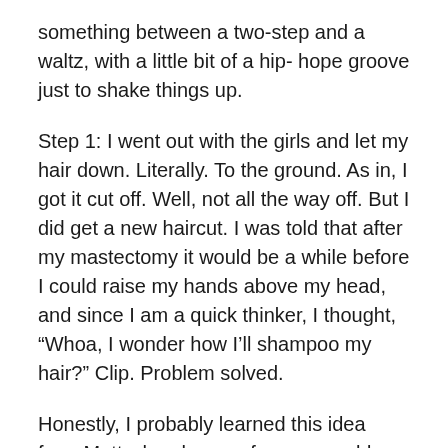something between a two-step and a waltz, with a little bit of a hip- hope groove just to shake things up.
Step 1: I went out with the girls and let my hair down. Literally. To the ground. As in, I got it cut off. Well, not all the way off. But I did get a new haircut. I was told that after my mastectomy it would be a while before I could raise my hands above my head, and since I am a quick thinker, I thought, “Whoa, I wonder how I’ll shampoo my hair?” Clip. Problem solved.
Honestly, I probably learned this idea from Matt when he was four years old and sitting at his desk one day, learning to read. I was doing math with Amanda, and I could hear Matt getting a little frustrated about something. I just assumed it was